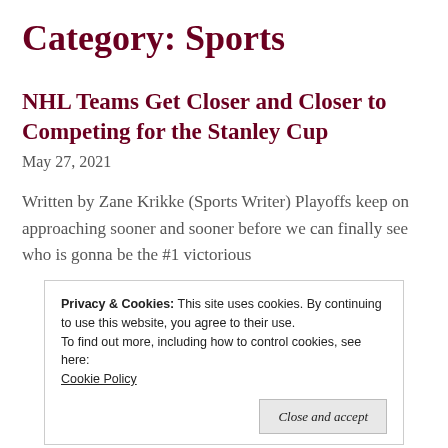Category: Sports
NHL Teams Get Closer and Closer to Competing for the Stanley Cup
May 27, 2021
Written by Zane Krikke (Sports Writer) Playoffs keep on approaching sooner and sooner before we can finally see who is gonna be the #1 victorious
Privacy & Cookies: This site uses cookies. By continuing to use this website, you agree to their use.
To find out more, including how to control cookies, see here:
Cookie Policy
Close and accept
Sponsored Content